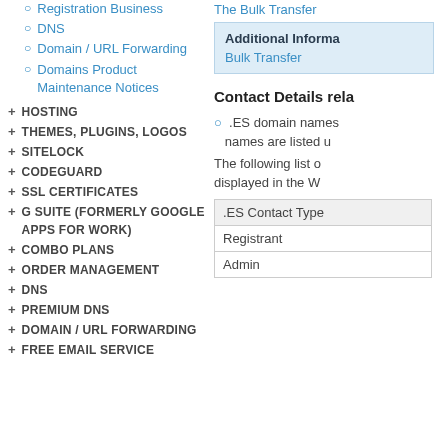Registration Business
DNS
Domain / URL Forwarding
Domains Product Maintenance Notices
+ HOSTING
+ THEMES, PLUGINS, LOGOS
+ SITELOCK
+ CODEGUARD
+ SSL CERTIFICATES
+ G SUITE (FORMERLY GOOGLE APPS FOR WORK)
+ COMBO PLANS
+ ORDER MANAGEMENT
+ DNS
+ PREMIUM DNS
+ DOMAIN / URL FORWARDING
+ FREE EMAIL SERVICE
The Bulk Transfer
Additional Information
Bulk Transfer
Contact Details rela
.ES domain names ... names are listed u
The following list o... displayed in the W
| .ES Contact Type |
| --- |
| Registrant |
| Admin |